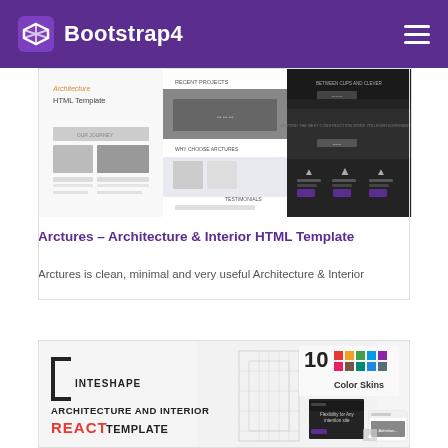[Figure (screenshot): Bootstrap4 website header with purple background, Bootstrap4 logo on left and hamburger menu on right]
[Figure (screenshot): Architecture HTML Template website screenshots showing multiple pages of the Arctures template]
Arctures – Architecture & Interior HTML Template
Arctures is clean, minimal and very useful Architecture & Interior
[Figure (screenshot): Inteshape Architecture and Interior React Template with building illustration, color skins panel showing 10 colors, and website screenshots]